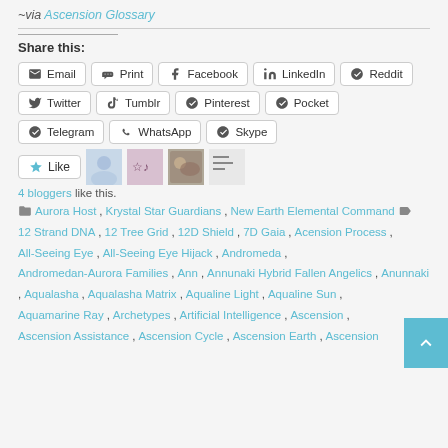~via Ascension Glossary
Share this:
Email, Print, Facebook, LinkedIn, Reddit, Twitter, Tumblr, Pinterest, Pocket, Telegram, WhatsApp, Skype
4 bloggers like this.
Aurora Host, Krystal Star Guardians, New Earth Elemental Command   12 Strand DNA, 12 Tree Grid, 12D Shield, 7D Gaia, Acension Process, All-Seeing Eye, All-Seeing Eye Hijack, Andromeda, Andromedan-Aurora Families, Ann, Annunaki Hybrid Fallen Angelics, Anunnaki, Aqualasha, Aqualasha Matrix, Aqualine Light, Aqualine Sun, Aquamarine Ray, Archetypes, Artificial Intelligence, Ascension, Ascension Assistance, Ascension Cycle, Ascension Earth, Ascension